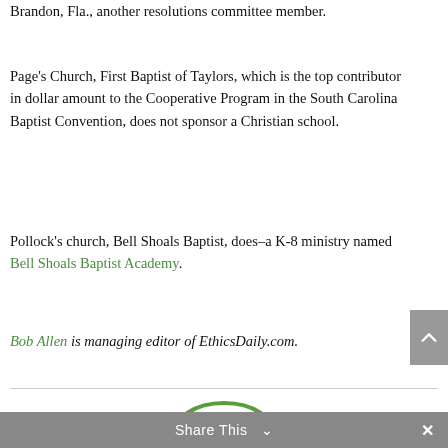Brandon, Fla., another resolutions committee member.
Page's Church, First Baptist of Taylors, which is the top contributor in dollar amount to the Cooperative Program in the South Carolina Baptist Convention, does not sponsor a Christian school.
Pollock's church, Bell Shoals Baptist, does–a K-8 ministry named Bell Shoals Baptist Academy.
Bob Allen is managing editor of EthicsDaily.com.
[Figure (logo): EthicsDaily.com logo with 'NO IMAGE AVAILABLE' placeholder and a stylized figure graphic]
Share This  ∨  ×